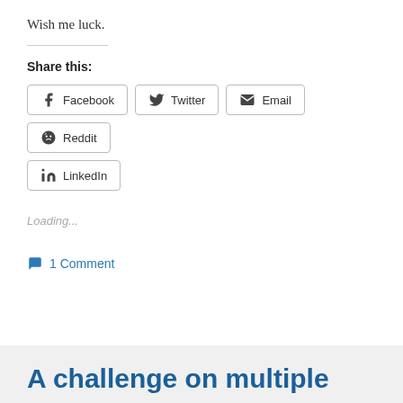Wish me luck.
Share this:
Facebook Twitter Email Reddit LinkedIn
Loading...
1 Comment
A challenge on multiple